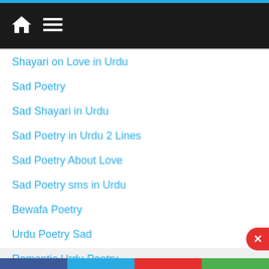Navigation bar with home icon and menu icon
Shayari on Love in Urdu
Sad Poetry
Sad Shayari in Urdu
Sad Poetry in Urdu 2 Lines
Sad Poetry About Love
Sad Poetry sms in Urdu
Bewafa Poetry
Urdu Poetry Sad
Romantic Urdu Poetry